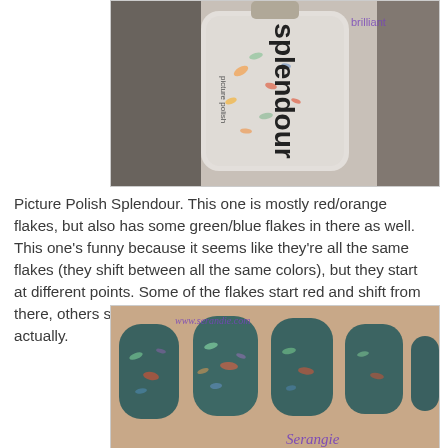[Figure (photo): Close-up of a nail polish bottle labeled 'Splendour' by Picture Polish. The bottle appears clear/iridescent with colorful flakes visible inside.]
Picture Polish Splendour. This one is mostly red/orange flakes, but also has some green/blue flakes in there as well. This one's funny because it seems like they're all the same flakes (they shift between all the same colors), but they start at different points. Some of the flakes start red and shift from there, others start at gold and come back around. Kinda cool, actually.
[Figure (photo): Photo of painted nails showing a dark teal/green nail polish with colorful iridescent flakes. Watermark reads www.serandie.com and Serangie in purple text.]